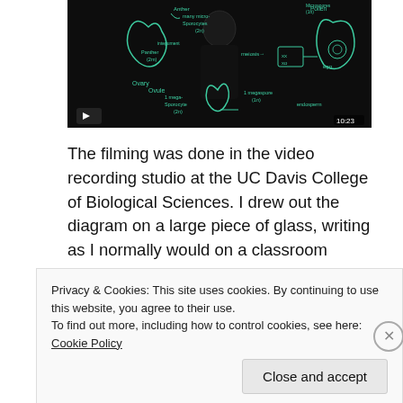[Figure (screenshot): Video thumbnail showing a man in dark clothing standing in front of a dark glass panel with green chalk-style biological diagrams drawn on it, depicting plant reproduction cycle with labels like 'Ovary', 'Ovule', 'Anther', 'many micro-sporocytes', 'pollen', 'meiosis', etc. A play button is visible at the bottom left and a timestamp '10:23' at the bottom right.]
The filming was done in the video recording studio at the UC Davis College of Biological Sciences. I drew out the diagram on a large piece of glass, writing as I normally would on a classroom whiteboard. After filming, camtasia was used to adjust colors, crop the image, and finally flip the image (this is why it looks like I
Privacy & Cookies: This site uses cookies. By continuing to use this website, you agree to their use.
To find out more, including how to control cookies, see here: Cookie Policy
Close and accept